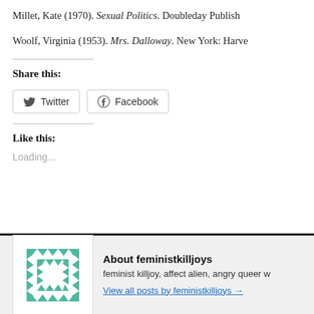Millet, Kate (1970). Sexual Politics. Doubleday Publish
Woolf, Virginia (1953). Mrs. Dalloway. New York: Harve
Share this:
Twitter   Facebook
Like this:
Loading...
About feministkilljoys
feminist killjoy, affect alien, angry queer w
View all posts by feministkilljoys →